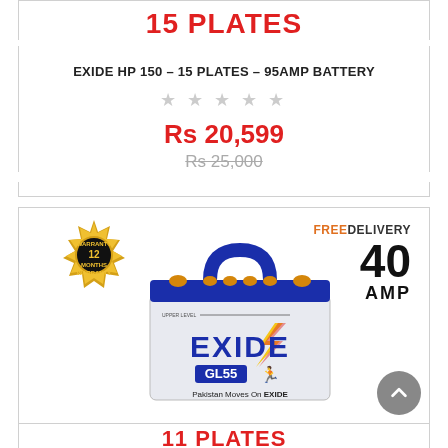15 PLATES
EXIDE HP 150 - 15 PLATES - 95AMP BATTERY
Rs 20,599
Rs 25,000
[Figure (photo): Exide GL55 battery with blue top, 12 Months Warranty badge, FREE DELIVERY 40 AMP label. Text: EXIDE, GL55, Pakistan Moves On EXIDE]
11 PLATES